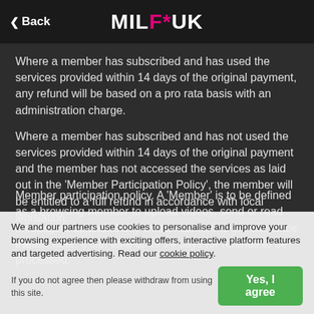Back | MILF*UK
Where a member has subscribed and has used the services provided within 14 days of the original payment, any refund will be based on a pro rata basis with an administration charge.
Where a member has subscribed and has not used the services provided within 14 days of the original payment and the member has not accessed the services as laid out in the 'Member Participation Policy', the member will be entitled to a full refund in accordance with local legislation.
Please note, it can take up to 14 days for refunds to be processed.
We and our partners use cookies to personalise and improve your browsing experience with exciting offers, interactive platform features and targeted advertising. Read our cookie policy.
If you do not agree then please withdraw from using this site.